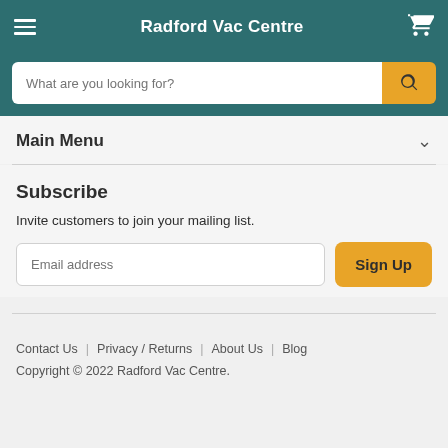Radford Vac Centre
Main Menu
Subscribe
Invite customers to join your mailing list.
Email address
Sign Up
Contact Us | Privacy / Returns | About Us | Blog
Copyright © 2022 Radford Vac Centre.